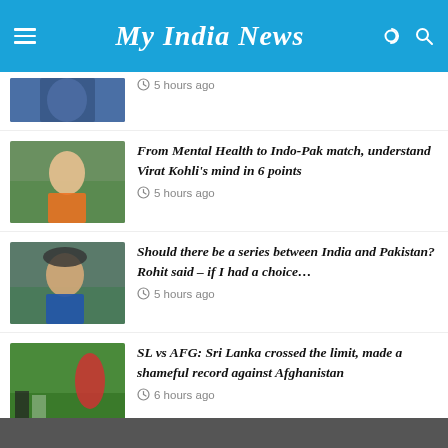My India News
[Figure (photo): Partial cricket player photo (top cropped), blue India jersey]
5 hours ago
[Figure (photo): Virat Kohli raising hand, orange India jersey, cricket field background]
From Mental Health to Indo-Pak match, understand Virat Kohli's mind in 6 points
5 hours ago
[Figure (photo): Rohit Sharma in hat, blue India jersey with BYJU'S, applauding]
Should there be a series between India and Pakistan? Rohit said – if I had a choice…
5 hours ago
[Figure (photo): Sri Lanka vs Afghanistan cricket match, players on green field]
SL vs AFG: Sri Lanka crossed the limit, made a shameful record against Afghanistan
6 hours ago